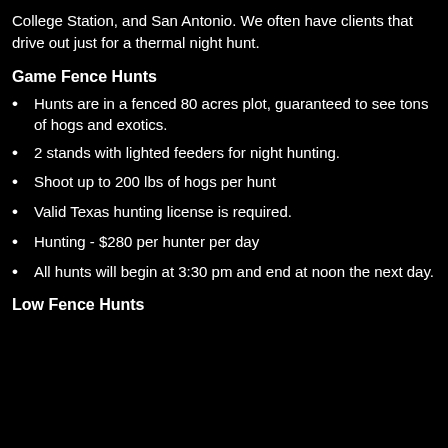College Station, and San Antonio. We often have clients that drive out just for a thermal night hunt.
Game Fence Hunts
Hunts are in a fenced 80 acres plot, guaranteed to see tons of hogs and exotics.
2 stands with lighted feeders for night hunting.
Shoot up to 200 lbs of hogs per hunt
Valid Texas hunting license is required.
Hunting - $280 per hunter per day
All hunts will begin at 3:30 pm and end at noon the next day.
Low Fence Hunts